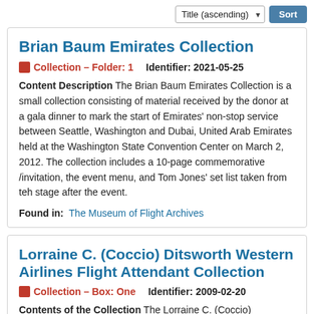Title (ascending) Sort
Brian Baum Emirates Collection
Collection – Folder: 1   Identifier: 2021-05-25
Content Description The Brian Baum Emirates Collection is a small collection consisting of material received by the donor at a gala dinner to mark the start of Emirates' non-stop service between Seattle, Washington and Dubai, United Arab Emirates held at the Washington State Convention Center on March 2, 2012. The collection includes a 10-page commemorative /invitation, the event menu, and Tom Jones' set list taken from teh stage after the event.
Found in: The Museum of Flight Archives
Lorraine C. (Coccio) Ditsworth Western Airlines Flight Attendant Collection
Collection – Box: One   Identifier: 2009-02-20
Contents of the Collection The Lorraine C. (Coccio)